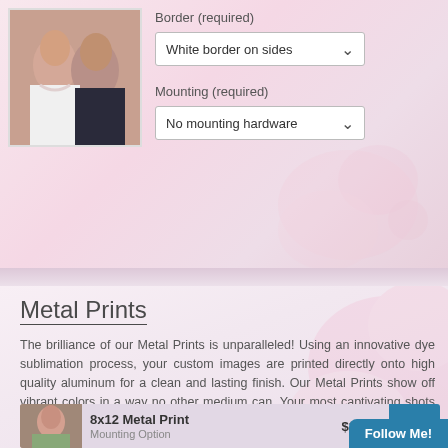[Figure (photo): Couple photo (bride and groom) in upper left corner]
Border (required)
White border on sides
Mounting (required)
No mounting hardware
Metal Prints
The brilliance of our Metal Prints is unparalleled! Using an innovative dye sublimation process, your custom images are printed directly onto high quality aluminum for a clean and lasting finish. Our Metal Prints show off vibrant colors in a way no other medium can. Your most captivating shots take on life-like depth and dimension for an impressive display that stands the test of time. Click here to review metal print mounting and base treatment options.
[Figure (photo): Small product thumbnail photo of a woman]
8x12 Metal Print
Mounting Option
$33.00
Buy!
Follow Me!